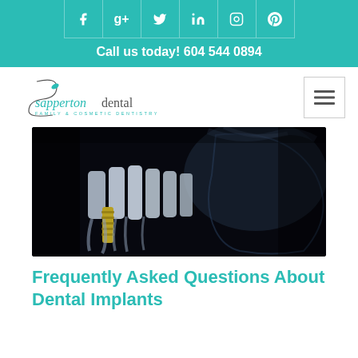[Figure (screenshot): Social media icons row: Facebook, Google+, Twitter, LinkedIn, Instagram, Pinterest on teal background]
Call us today! 604 544 0894
[Figure (logo): Sapperton Dental - Family & Cosmetic Dentistry logo with teal script text and stylized S]
[Figure (photo): 3D X-ray style illustration of human jaw showing teeth and a dental implant screw, dark background]
Frequently Asked Questions About Dental Implants